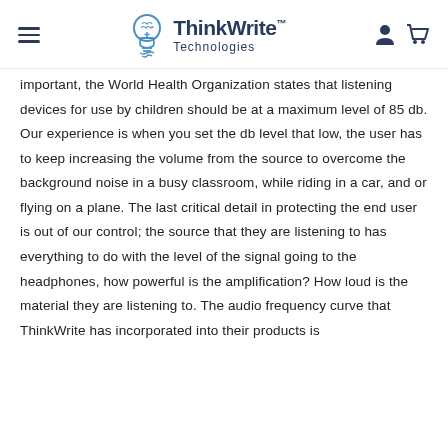ThinkWrite Technologies
important, the World Health Organization states that listening devices for use by children should be at a maximum level of 85 db. Our experience is when you set the db level that low, the user has to keep increasing the volume from the source to overcome the background noise in a busy classroom, while riding in a car, and or flying on a plane. The last critical detail in protecting the end user is out of our control; the source that they are listening to has everything to do with the level of the signal going to the headphones, how powerful is the amplification? How loud is the material they are listening to. The audio frequency curve that ThinkWrite has incorporated into their products is